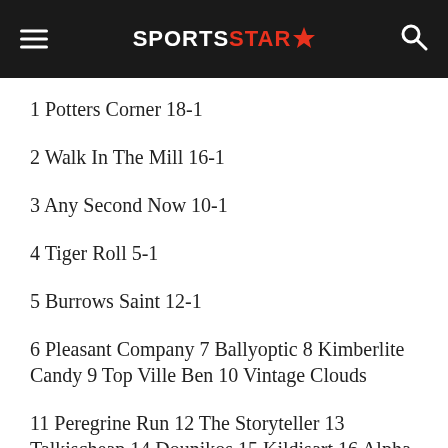SPORTS STAR
1 Potters Corner 18-1
2 Walk In The Mill 16-1
3 Any Second Now 10-1
4 Tiger Roll 5-1
5 Burrows Saint 12-1
6 Pleasant Company 7 Ballyoptic 8 Kimberlite Candy 9 Top Ville Ben 10 Vintage Clouds
11 Peregrine Run 12 The Storyteller 13 Talkischeap 14 Dounikos 15 Kildisart 16 Alpha Des Obeaux 17 Beware The